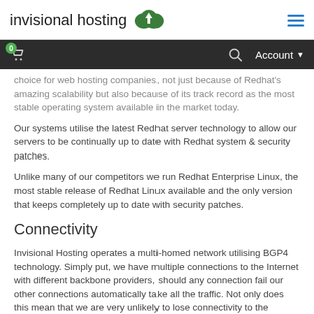invisional hosting
choice for web hosting companies, not just because of Redhat's amazing scalability but also because of its track record as the most stable operating system available in the market today.
Our systems utilise the latest Redhat server technology to allow our servers to be continually up to date with Redhat system & security patches.
Unlike many of our competitors we run Redhat Enterprise Linux, the most stable release of Redhat Linux available and the only version that keeps completely up to date with security patches.
Connectivity
Invisional Hosting operates a multi-homed network utilising BGP4 technology. Simply put, we have multiple connections to the Internet with different backbone providers, should any connection fail our other connections automatically take all the traffic. Not only does this mean that we are very unlikely to lose connectivity to the Internet, but it also means that traffic